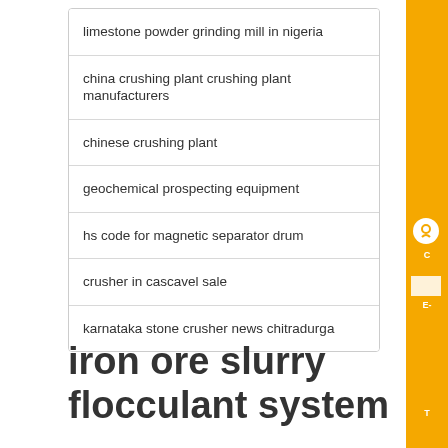limestone powder grinding mill in nigeria
china crushing plant crushing plant manufacturers
chinese crushing plant
geochemical prospecting equipment
hs code for magnetic separator drum
crusher in cascavel sale
karnataka stone crusher news chitradurga
iron ore slurry flocculant system